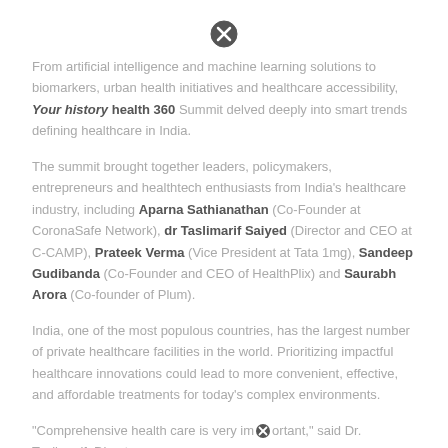[Figure (other): Close/cancel icon (circled X) at top center of page]
From artificial intelligence and machine learning solutions to biomarkers, urban health initiatives and healthcare accessibility, Your history health 360 Summit delved deeply into smart trends defining healthcare in India.
The summit brought together leaders, policymakers, entrepreneurs and healthtech enthusiasts from India's healthcare industry, including Aparna Sathianathan (Co-Founder at CoronaSafe Network), dr Taslimarif Saiyed (Director and CEO at C-CAMP), Prateek Verma (Vice President at Tata 1mg), Sandeep Gudibanda (Co-Founder and CEO of HealthPlix) and Saurabh Arora (Co-founder of Plum).
India, one of the most populous countries, has the largest number of private healthcare facilities in the world. Prioritizing impactful healthcare innovations could lead to more convenient, effective, and affordable treatments for today's complex environments.
"Comprehensive health care is very important," said Dr. Taslimarif, Director